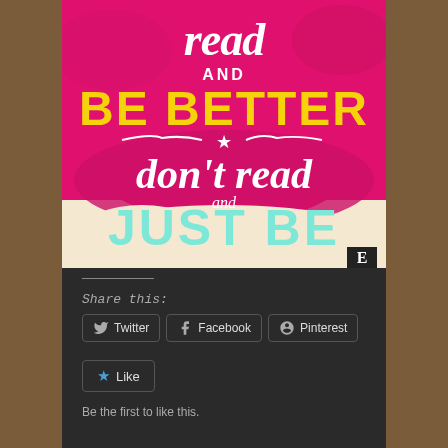[Figure (illustration): Motivational poster with pink/magenta watercolor background. Text reads: 'read AND BE BETTER * don't read and JUST BE' in mixed yellow, white, and cyan/teal lettering. Small 'E' logo in bottom-right corner.]
Share this:
Twitter | Facebook | Pinterest
Like
Be the first to like this.